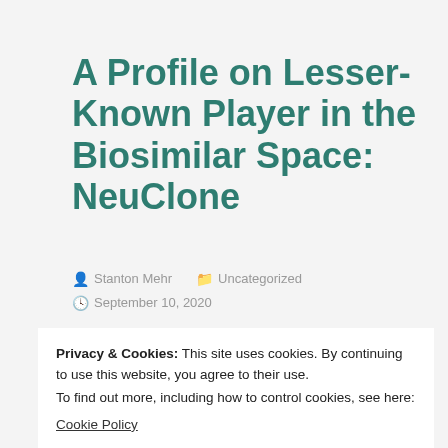A Profile on Lesser-Known Player in the Biosimilar Space: NeuClone
Stanton Mehr   Uncategorized   September 10, 2020
On occasion, we profile some biosimilar
Privacy & Cookies: This site uses cookies. By continuing to use this website, you agree to their use.
To find out more, including how to control cookies, see here:
Cookie Policy
been in the news as often as their colleagues. In